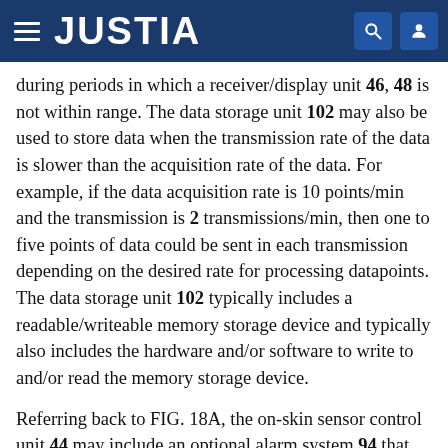JUSTIA
during periods in which a receiver/display unit 46, 48 is not within range. The data storage unit 102 may also be used to store data when the transmission rate of the data is slower than the acquisition rate of the data. For example, if the data acquisition rate is 10 points/min and the transmission is 2 transmissions/min, then one to five points of data could be sent in each transmission depending on the desired rate for processing datapoints. The data storage unit 102 typically includes a readable/writeable memory storage device and typically also includes the hardware and/or software to write to and/or read the memory storage device.
Referring back to FIG. 18A, the on-skin sensor control unit 44 may include an optional alarm system 94 that, based on the data from the processing circuit 109, warns the patient of a potentially detrimental condition